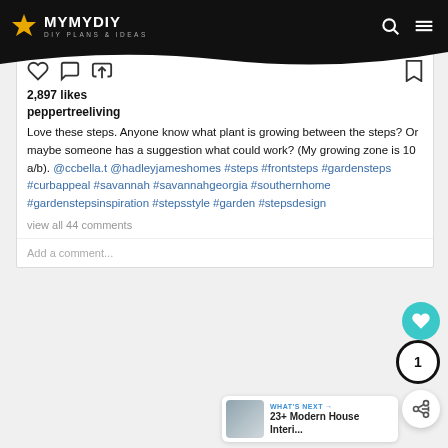MYMYDIY — DIY Plans & Ideas
2,897 likes
peppertreeliving
Love these steps. Anyone know what plant is growing between the steps? Or maybe someone has a suggestion what could work? (My growing zone is 10 a/b). @ccbella.t @hadleyjameshomes #steps #frontsteps #gardensteps #curbappeal #savannah #savannahgeorgia #southernhome #gardenstepsinspiration #stepsstyle #garden #stepsdesign
view all 44 comments
Add a comment...
WHAT'S NEXT → 23+ Modern House Interi...